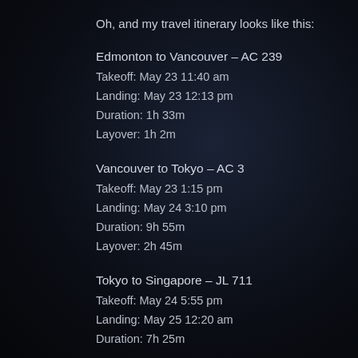Oh, and my travel itinerary looks like this:
Edmonton to Vancouver – AC 239
Takeoff: May 23 11:40 am
Landing: May 23 12:13 pm
Duration: 1h 33m
Layover: 1h 2m
Vancouver to Tokyo – AC 3
Takeoff: May 23 1:15 pm
Landing: May 24 3:10 pm
Duration: 9h 55m
Layover: 2h 45m
Tokyo to Singapore – JL 711
Takeoff: May 24 5:55 pm
Landing: May 25 12:20 am
Duration: 7h 25m